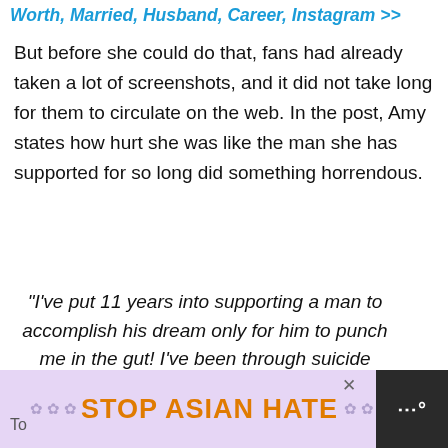Worth, Married, Husband, Career, Instagram >>
But before she could do that, fans had already taken a lot of screenshots, and it did not take long for them to circulate on the web. In the post, Amy states how hurt she was like the man she has supported for so long did something horrendous.
“I’ve put 11 years into supporting a man to accomplish his dream only for him to punch me in the gut! I’ve been through suicide attempts, alcoholism, among so much mo with him and stuck by his side.”
[Figure (screenshot): STOP ASIAN HATE advertisement banner with floral decorations and a cartoon figure]
To